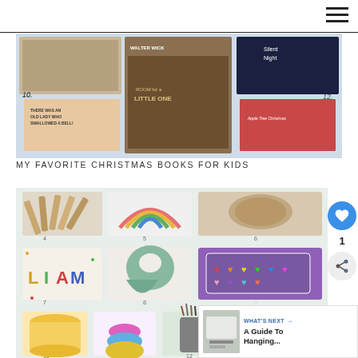[Figure (photo): Collage of Christmas book covers for kids, numbered 10, 11, 12 visible. Includes There Was an Old Lady Who Swallowed a Bell, Walter Wick Room for a Little One, Silent Night, and Apple Tree Christmas.]
MY FAVORITE CHRISTMAS BOOKS FOR KIDS
[Figure (photo): Collage of baby and kids gift items numbered 4 through 15, including wooden sticks, rainbow toy, wooden tray, letter blocks spelling LIAM, silicone bib, heart-shaped watercolor palette, play dough bucket, stacked cups, art supply holder, egg carton with colorful eggs, rainbow stacking rings, hanging banner reading ALL THINGS NEW, and plaid fabric item. Numbers 4-13 and 15 visible.]
1
WHAT'S NEXT → A Guide To Hanging...